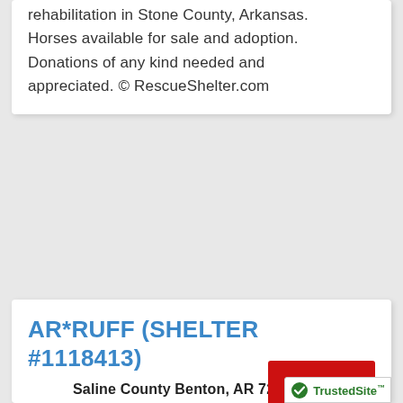rehabilitation in Stone County, Arkansas. Horses available for sale and adoption. Donations of any kind needed and appreciated. © RescueShelter.com
AR*RUFF (SHELTER #1118413)
VISIT
Saline County Benton, AR 72019
Contact: Karen Ragsdale 5013167247; Tina Mattingly-Bohannon 8702673763
We are a group of friends who rescue sm